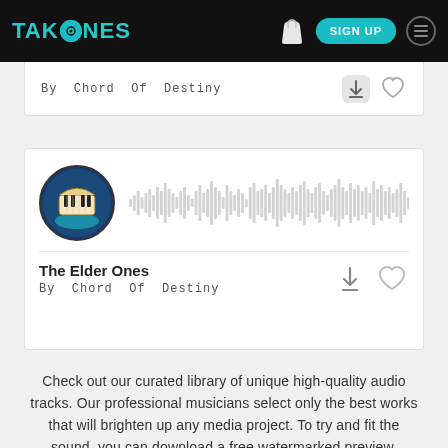TAKETONES | SIGN UP
By Chord Of Destiny
[Figure (screenshot): Music player card showing album art (illustrated keyboard/piano on dark blue circle), a waveform audio visualization in grey, track title 'The Elder Ones', artist 'By Chord Of Destiny', with download and favorite icons]
The Elder Ones
By Chord Of Destiny
Check out our curated library of unique high-quality audio tracks. Our professional musicians select only the best works that will brighten up any media project. To try and fit the sound, you can download a free watermarked preview. Especially for